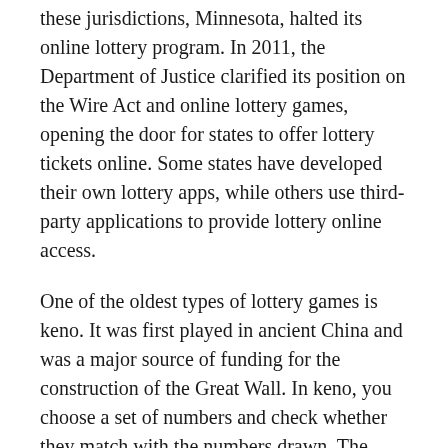these jurisdictions, Minnesota, halted its online lottery program. In 2011, the Department of Justice clarified its position on the Wire Act and online lottery games, opening the door for states to offer lottery tickets online. Some states have developed their own lottery apps, while others use third-party applications to provide lottery online access.
One of the oldest types of lottery games is keno. It was first played in ancient China and was a major source of funding for the construction of the Great Wall. In keno, you choose a set of numbers and check whether they match with the numbers drawn. The more numbers you correctly guess, the bigger your prize.
New York lottery winners can claim their winnings in person or through the mail. To claim your prize, you must show proof of identification and fill out a claim form. Then, you must pay taxes if you won the lottery. The state taxes 8.82% of the prize. The city of New York also taxes